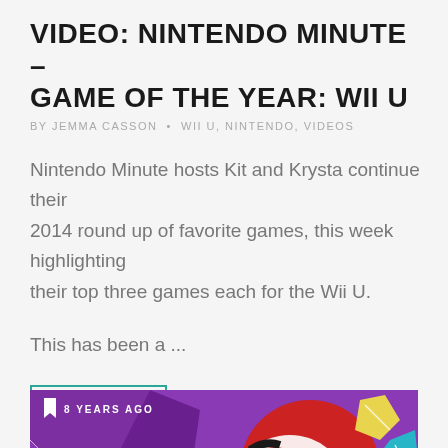VIDEO: NINTENDO MINUTE – GAME OF THE YEAR: WII U
BY JEMMA CASSON • WII U, NINTENDO, VIDEOS
Nintendo Minute hosts Kit and Krysta continue their 2014 round up of favorite games, this week highlighting their top three games each for the Wii U.
This has been a ...
READ MORE
[Figure (photo): Colorful animated character illustration with purple, red, and blue geometric shapes. A cartoon creature with large round red eyes and black markings on a white face. Yellow gem-like shapes visible on right side. Text overlay reads '8 YEARS AGO' with a bookmark icon.]